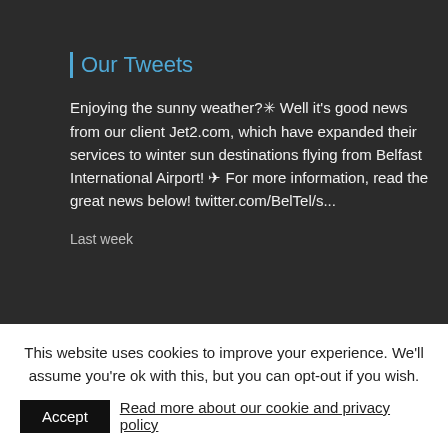Our Tweets
Enjoying the sunny weather?✳ Well it's good news from our client Jet2.com, which have expanded their services to winter sun destinations flying from Belfast International Airport! ✈ For more information, read the great news below! twitter.com/BelTel/s...
Last week
Our Instagram
[Figure (photo): Partial Instagram image thumbnail showing blue tones]
This website uses cookies to improve your experience. We'll assume you're ok with this, but you can opt-out if you wish.
Accept  Read more about our cookie and privacy policy